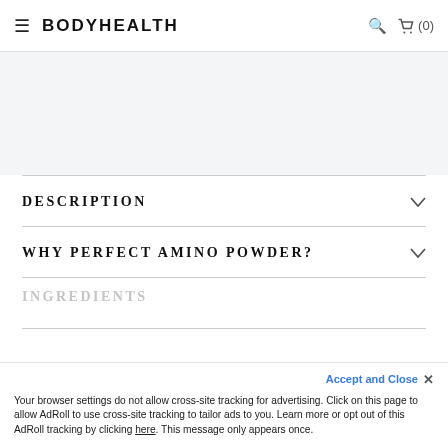BODYHEALTH  (0)
DESCRIPTION
WHY PERFECT AMINO POWDER?
USAGE CHART
INGREDIENTS
Accept and Close ×
Your browser settings do not allow cross-site tracking for advertising. Click on this page to allow AdRoll to use cross-site tracking to tailor ads to you. Learn more or opt out of this AdRoll tracking by clicking here. This message only appears once.